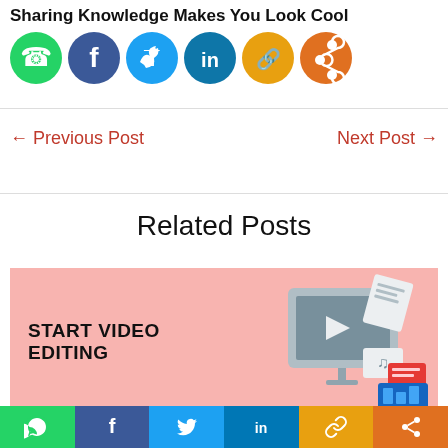Sharing Knowledge Makes You Look Cool
[Figure (illustration): Six colored social media share buttons in a row: WhatsApp (green), Facebook (dark blue), Twitter (light blue), LinkedIn (teal/blue), Copy Link (yellow/orange), Share (orange)]
← Previous Post
Next Post →
Related Posts
[Figure (illustration): Pink banner with bold text 'START VIDEO EDITING' on left and 3D illustration of video editing software icons on right]
[Figure (illustration): Bottom navigation bar with six social media icons: WhatsApp (green), Facebook (dark blue), Twitter (blue), LinkedIn (blue), Copy Link (yellow), Share (orange)]